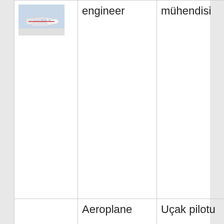| [image: airplane engineer] | engineer | mühendisi |
|  | Aeroplane | Uçak pilotu |